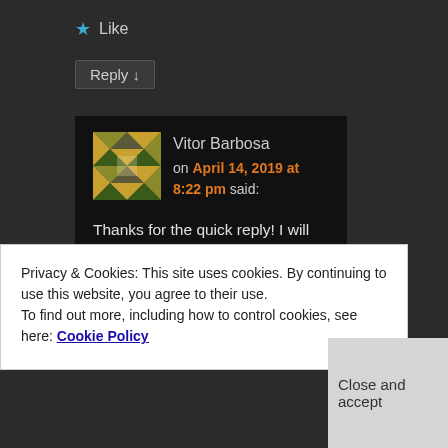★ Like
Reply ↓
Vitor Barbosa on April 14, 2019 at 8:22 pm said:
Thanks for the quick reply! I will try increasing the scan size and see if it helps. The sample does rotate. By the way, the sample is put in
Privacy & Cookies: This site uses cookies. By continuing to use this website, you agree to their use.
To find out more, including how to control cookies, see here: Cookie Policy
Close and accept